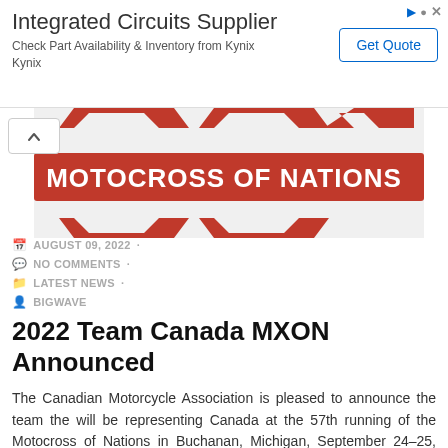[Figure (infographic): Advertisement banner: 'Integrated Circuits Supplier' with 'Check Part Availability & Inventory from Kynix Kynix' text and 'Get Quote' button]
[Figure (logo): Motocross of Nations logo with red banner and stylized text on dark graphic background]
AUGUST 09, 2022 ·
NO COMMENTS ·
LATEST NEWS ·
BIGWAVE
2022 Team Canada MXON Announced
The Canadian Motorcycle Association is pleased to announce the team the will be representing Canada at the 57th running of the Motocross of Nations in Buchanan, Michigan, September 24–25, 2022. Riding in the MX1 class is Drummondville, Quebec's Dylan Wright. The 24 year old won